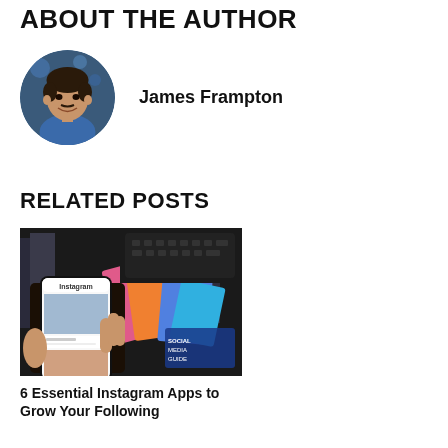ABOUT THE AUTHOR
[Figure (photo): Circular profile photo of James Frampton, a man smiling, wearing a blue shirt, with a blurred background]
James Frampton
RELATED POSTS
[Figure (photo): Photo of a hand holding a smartphone displaying an Instagram feed, with colorful social media images and a dark keyboard in the background]
6 Essential Instagram Apps to Grow Your Following